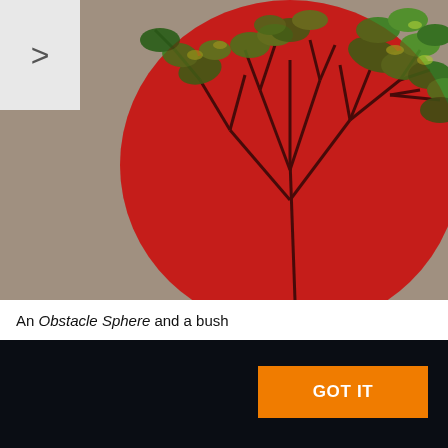[Figure (illustration): A 3D rendered scene showing a red semi-transparent obstacle sphere overlapping with a bush/tree with dark branches and green foliage clusters. Background is grey-brown. A navigation arrow '>' is in the top-left corner on a light grey background.]
An Obstacle Sphere and a bush
[Figure (screenshot): Dark black panel with an orange 'GOT IT' button on the right side.]